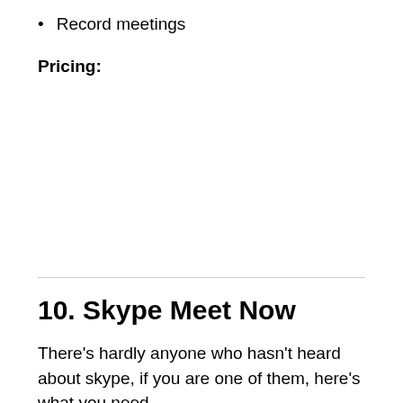Record meetings
Pricing:
10. Skype Meet Now
There's hardly anyone who hasn't heard about skype, if you are one of them, here's what you need